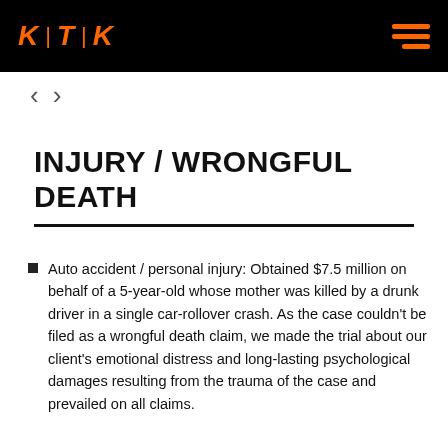KTK
[Figure (other): Navigation arrows: left chevron and right chevron]
INJURY / WRONGFUL DEATH
Auto accident / personal injury: Obtained $7.5 million on behalf of a 5-year-old whose mother was killed by a drunk driver in a single car-rollover crash. As the case couldn't be filed as a wrongful death claim, we made the trial about our client's emotional distress and long-lasting psychological damages resulting from the trauma of the case and prevailed on all claims.